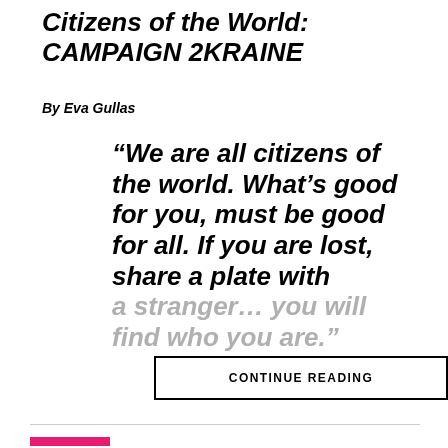Citizens of the World: CAMPAIGN 2KRAINE
By Eva Gullas
“We are all citizens of the world. What’s good for you, must be good for all. If you are lost, share a plate with a stranger… you will find who you are.”
CONTINUE READING